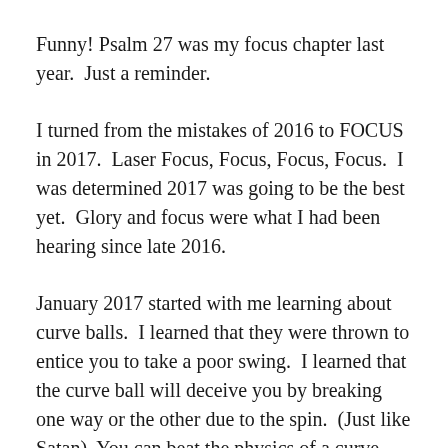Funny! Psalm 27 was my focus chapter last year.  Just a reminder.
I turned from the mistakes of 2016 to FOCUS in 2017.  Laser Focus, Focus, Focus, Focus.  I was determined 2017 was going to be the best yet.  Glory and focus were what I had been hearing since late 2016.
January 2017 started with me learning about curve balls.  I learned that they were thrown to entice you to take a poor swing.  I learned that the curve ball will deceive you by breaking one way or the other due to the spin.  (Just like Satan)  You can beat the physics of a curve and